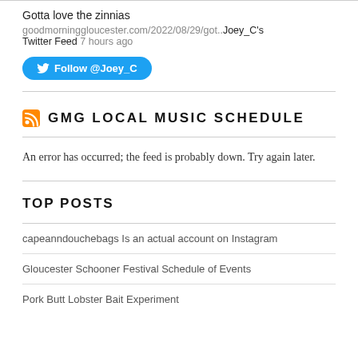Gotta love the zinnias
goodmorninggloucester.com/2022/08/29/got.. Joey_C's Twitter Feed 7 hours ago
Follow @Joey_C
GMG LOCAL MUSIC SCHEDULE
An error has occurred; the feed is probably down. Try again later.
TOP POSTS
capeanndouchebags Is an actual account on Instagram
Gloucester Schooner Festival Schedule of Events
Pork Butt Lobster Bait Experiment